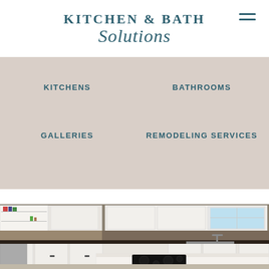KITCHEN & BATH Solutions
[Figure (screenshot): Navigation menu with KITCHENS, BATHROOMS, GALLERIES, REMODELING SERVICES links on a beige background]
VISIT OUR SHOWROOM
[Figure (photo): Photo of a modern kitchen remodel with white cabinets, dark countertops, island with cooktop, and mosaic tile backsplash]